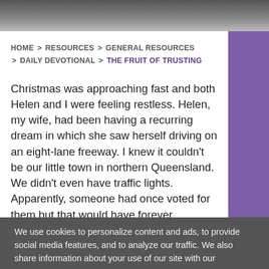[Figure (photo): Dark grayscale image at the top of the page, appears to be a cropped banner photo]
HOME > RESOURCES > GENERAL RESOURCES > DAILY DEVOTIONAL > THE FRUIT OF TRUSTING
Christmas was approaching fast and both Helen and I were feeling restless. Helen, my wife, had been having a recurring dream in which she saw herself driving on an eight-lane freeway. I knew it couldn't be our little town in northern Queensland. We didn't even have traffic lights. Apparently, someone had once voted for them but that would have forever changed our little town, so the traditionalists won and progress was placed on the backburner.
We use cookies to personalize content and ads, to provide social media features, and to analyze our traffic. We also share information about your use of our site with our